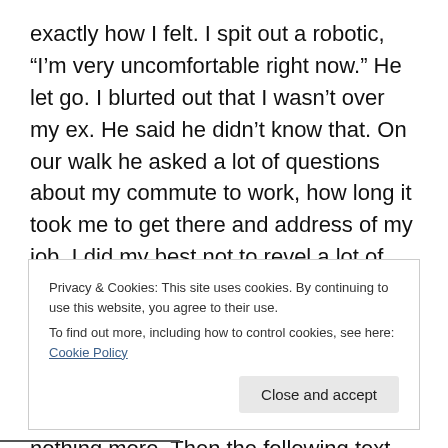exactly how I felt. I spit out a robotic, “I’m very uncomfortable right now.” He let go. I blurted out that I wasn’t over my ex. He said he didn’t know that. On our walk he asked a lot of questions about my commute to work, how long it took me to get there and address of my job. I did my best not to revel a lot of this. After an hour of walking with him I said I was going to head home. He asked if I would see him the next day. I declined. Before I knew how clingy he was, I was considering a friendship and nothing more. Then the following text message conversations occurred.
Privacy & Cookies: This site uses cookies. By continuing to use this website, you agree to their use.
To find out more, including how to control cookies, see here: Cookie Policy